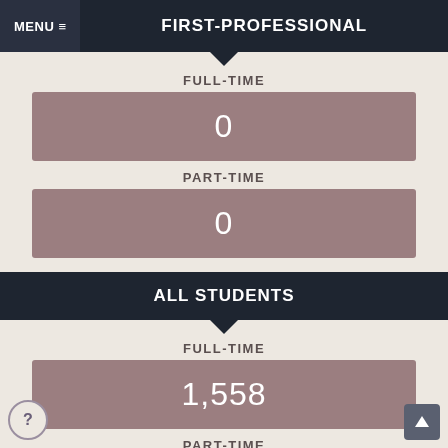MENU ≡  FIRST-PROFESSIONAL
FULL-TIME
0
PART-TIME
0
ALL STUDENTS
FULL-TIME
1,558
PART-TIME
116